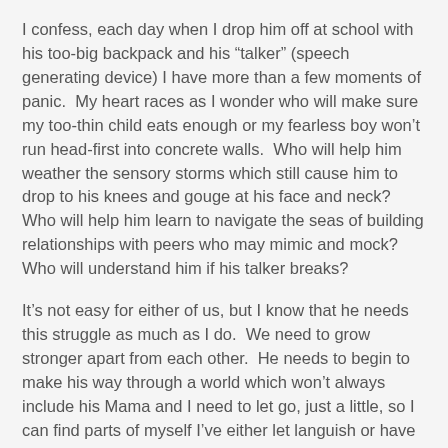I confess, each day when I drop him off at school with his too-big backpack and his “talker” (speech generating device) I have more than a few moments of panic.  My heart races as I wonder who will make sure my too-thin child eats enough or my fearless boy won’t run head-first into concrete walls.  Who will help him weather the sensory storms which still cause him to drop to his knees and gouge at his face and neck?  Who will help him learn to navigate the seas of building relationships with peers who may mimic and mock?  Who will understand him if his talker breaks?
It’s not easy for either of us, but I know that he needs this struggle as much as I do.  We need to grow stronger apart from each other.  He needs to begin to make his way through a world which won’t always include his Mama and I need to let go, just a little, so I can find parts of myself I’ve either let languish or have not yet discovered.
We are blessed to have a team of people working with and for our son to find the right supports, the right placement, the right methods to help him express the knowledge he has inside his wordless self.  It is the confidence in that team